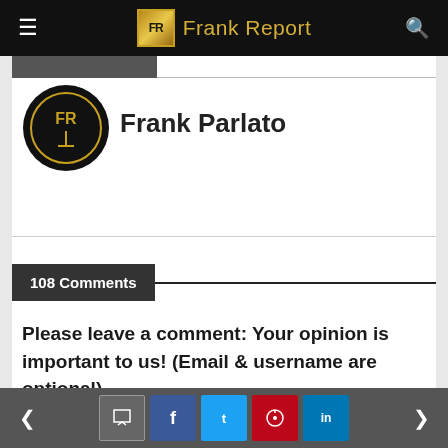Frank Report
[Figure (logo): Frank Report logo: circular FR emblem in gold on black background with Frank Parlato author name]
Frank Parlato
108 Comments
Please leave a comment: Your opinion is important to us! (Email & username are optional)